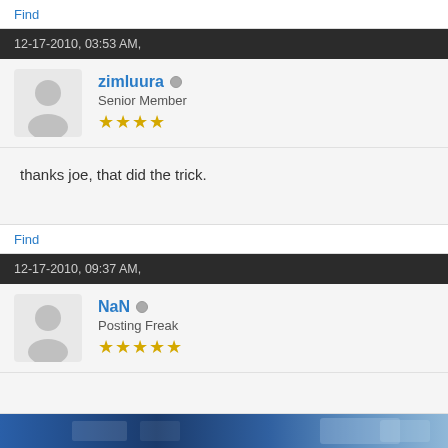Find
12-17-2010, 03:53 AM,
zimluura  Senior Member ★★★★
thanks joe, that did the trick.
Find
12-17-2010, 09:37 AM,
NaN  Posting Freak ★★★★★
[Figure (screenshot): Screenshot of a webpage with blue header bar and partial content visible]